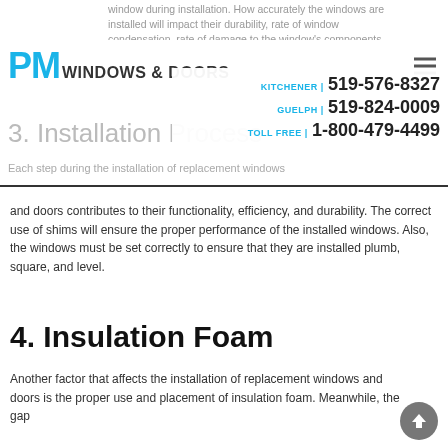window during installation. How accurately the windows are installed will impact their durability, rate of window condensation, rate of damage to the window's components, and longevity. Always use an experienced installer for the installation of replacement windows and doors.
PM WINDOWS & DOORS | KITCHENER 519-576-8327 | GUELPH 519-824-0009 | TOLL FREE 1-800-479-4499
3. Installation Process
Each step during the installation of replacement windows and doors contributes to their functionality, efficiency, and durability. The correct use of shims will ensure the proper performance of the installed windows. Also, the windows must be set correctly to ensure that they are installed plumb, square, and level.
4. Insulation Foam
Another factor that affects the installation of replacement windows and doors is the proper use and placement of insulation foam. Meanwhile, the gap